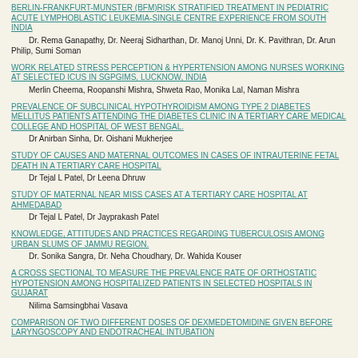BERLIN-FRANKFURT-MUNSTER (BFM)RISK STRATIFIED TREATMENT IN PEDIATRIC ACUTE LYMPHOBLASTIC LEUKEMIA-SINGLE CENTRE EXPERIENCE FROM SOUTH INDIA
WORK RELATED STRESS PERCEPTION & HYPERTENSION AMONG NURSES WORKING AT SELECTED ICUS IN SGPGIMS, LUCKNOW, INDIA
PREVALENCE OF SUBCLINICAL HYPOTHYROIDISM AMONG TYPE 2 DIABETES MELLITUS PATIENTS ATTENDING THE DIABETES CLINIC IN A TERTIARY CARE MEDICAL COLLEGE AND HOSPITAL OF WEST BENGAL.
STUDY OF CAUSES AND MATERNAL OUTCOMES IN CASES OF INTRAUTERINE FETAL DEATH IN A TERTIARY CARE HOSPITAL
STUDY OF MATERNAL NEAR MISS CASES AT A TERTIARY CARE HOSPITAL AT AHMEDABAD
KNOWLEDGE, ATTITUDES AND PRACTICES REGARDING TUBERCULOSIS AMONG URBAN SLUMS OF JAMMU REGION.
A CROSS SECTIONAL TO MEASURE THE PREVALENCE RATE OF ORTHOSTATIC HYPOTENSION AMONG HOSPITALIZED PATIENTS IN SELECTED HOSPITALS IN GUJARAT
COMPARISON OF TWO DIFFERENT DOSES OF DEXMEDETOMIDINE GIVEN BEFORE LARYNGOSCOPY AND ENDOTRACHEAL INTUBATION